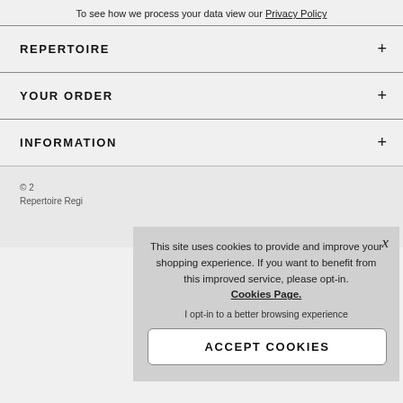To see how we process your data view our Privacy Policy
REPERTOIRE +
YOUR ORDER +
INFORMATION +
© 2
This site uses cookies to provide and improve your shopping experience. If you want to benefit from this improved service, please opt-in. Cookies Page.
I opt-in to a better browsing experience
ACCEPT COOKIES
Repertoire Regi